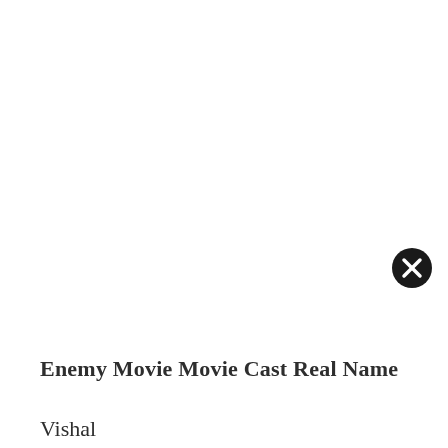[Figure (other): Close/dismiss button icon — black filled circle with white X in center]
Enemy Movie Movie Cast Real Name
Vishal